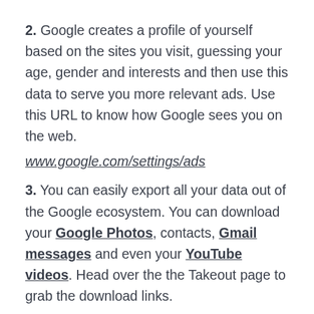2. Google creates a profile of yourself based on the sites you visit, guessing your age, gender and interests and then use this data to serve you more relevant ads. Use this URL to know how Google sees you on the web.
www.google.com/settings/ads
3. You can easily export all your data out of the Google ecosystem. You can download your Google Photos, contacts, Gmail messages and even your YouTube videos. Head over the the Takeout page to grab the download links.
www.google.com/takeout
4. If you ever find your content appearing on